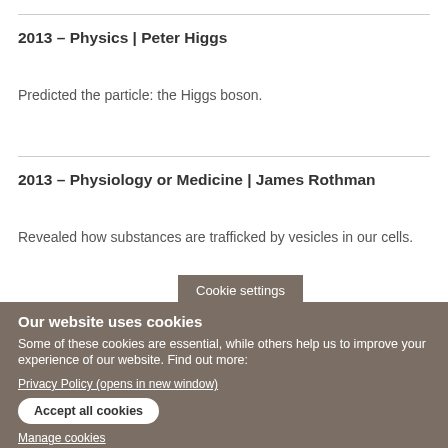2013 – Physics | Peter Higgs
Predicted the particle: the Higgs boson.
2013 – Physiology or Medicine | James Rothman
Revealed how substances are trafficked by vesicles in our cells.
Cookie settings
Our website uses cookies
Some of these cookies are essential, while others help us to improve your experience of our website. Find out more:
Privacy Policy (opens in new window)
Accept all cookies
Manage cookies